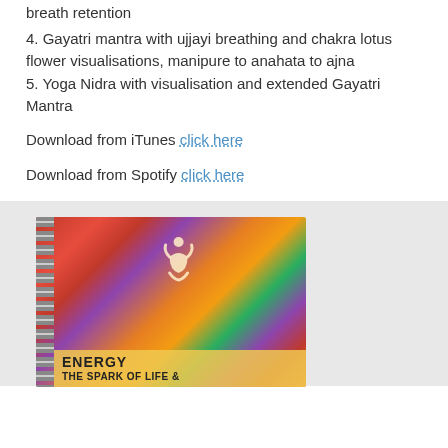breath retention
4. Gayatri mantra with ujjayi breathing and chakra lotus flower visualisations, manipure to anahata to ajna
5. Yoga Nidra with visualisation and extended Gayatri Mantra
Download from iTunes click here
Download from Spotify click here
[Figure (photo): Book cover image titled 'ENERGY THE SPARK OF LIFE &' with a spiral-bound notebook showing a painting of a meditating figure with colorful swirling background in red, orange, green, and purple tones. The title text appears in bold on a yellow/gold band at the bottom.]